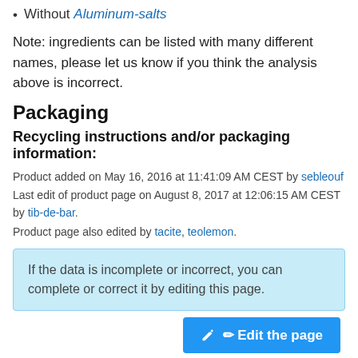Without Aluminum-salts
Note: ingredients can be listed with many different names, please let us know if you think the analysis above is incorrect.
Packaging
Recycling instructions and/or packaging information:
Product added on May 16, 2016 at 11:41:09 AM CEST by sebleouf
Last edit of product page on August 8, 2017 at 12:06:15 AM CEST by tib-de-bar.
Product page also edited by tacite, teolemon.
If the data is incomplete or incorrect, you can complete or correct it by editing this page.
Edit the page